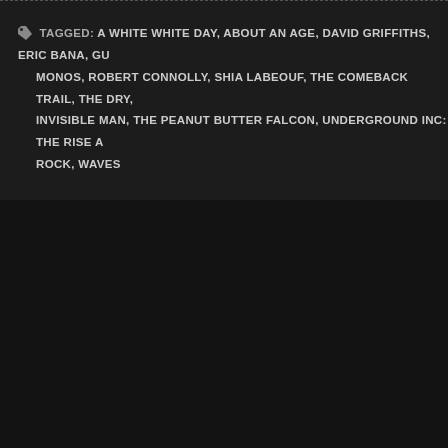TAGGED: A WHITE WHITE DAY, ABOUT AN AGE, DAVID GRIFFITHS, ERIC BANA, GU... MONOS, ROBERT CONNOLLY, SHIA LABEOUF, THE COMEBACK TRAIL, THE DRY... INVISIBLE MAN, THE PEANUT BUTTER FALCON, UNDERGROUND INC: THE RISE A... ROCK, WAVES